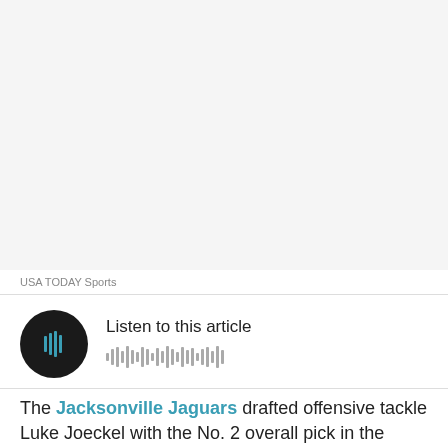[Figure (photo): Blank/white image area placeholder for a photo]
USA TODAY Sports
[Figure (other): Audio player widget with play button (dark circle with audio waveform icon) and waveform visualization, labeled 'Listen to this article']
The Jacksonville Jaguars drafted offensive tackle Luke Joeckel with the No. 2 overall pick in the 2013